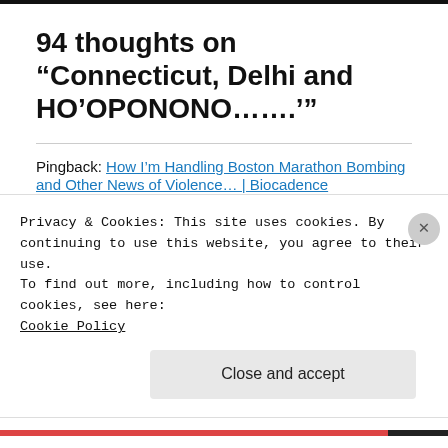94 thoughts on “Connecticut, Delhi and HO’OPONONO……..”
Pingback: How I’m Handling Boston Marathon Bombing and Other News of Violence… | Biocadence
Shakti Ghosal
Privacy & Cookies: This site uses cookies. By continuing to use this website, you agree to their use.
To find out more, including how to control cookies, see here:
Cookie Policy